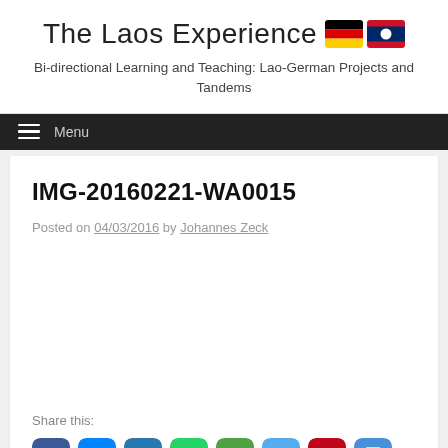The Laos Experience
Bi-directional Learning and Teaching: Lao-German Projects and Tandems
Menu
IMG-20160221-WA0015
Posted on 04/03/2016 by Johannes Zeck
Share this: